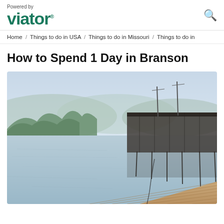Powered by viator.
Home / Things to do in USA / Things to do in Missouri / Things to do in
How to Spend 1 Day in Branson
[Figure (photo): A lakeside scene showing a wooden dock in the foreground extending over calm water, with a boat marina and covered boat dock structure on the right side, trees and hills in the misty background.]